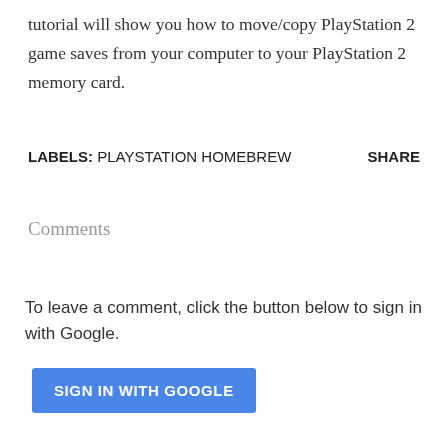tutorial will show you how to move/copy PlayStation 2 game saves from your computer to your PlayStation 2 memory card.
LABELS: PLAYSTATION HOMEBREW    SHARE
Comments
To leave a comment, click the button below to sign in with Google.
SIGN IN WITH GOOGLE